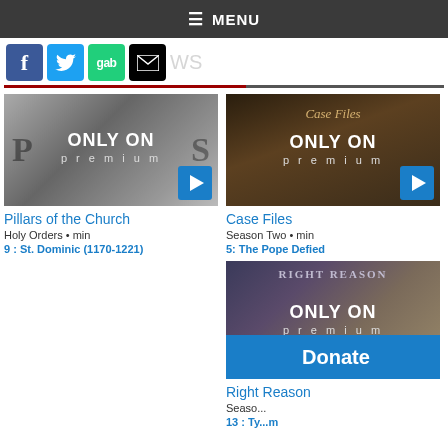≡ MENU
[Figure (screenshot): Social media icons: Facebook (blue), Twitter (blue bird), Gab (green), Email/mail (black envelope), and partial 'WS' text]
[Figure (screenshot): Thumbnail for 'Pillars of the Church' with ONLY ON premium overlay and play button]
Pillars of the Church
Holy Orders • min
9 : St. Dominic (1170-1221)
[Figure (screenshot): Thumbnail for 'Case Files' with ONLY ON premium overlay and play button]
Case Files
Season Two • min
5: The Pope Defied
[Figure (screenshot): Thumbnail for 'Right Reason' with ONLY ON premium overlay, play button, and Donate bar at bottom]
Right Reason
Seaso...
13 : Ty...m